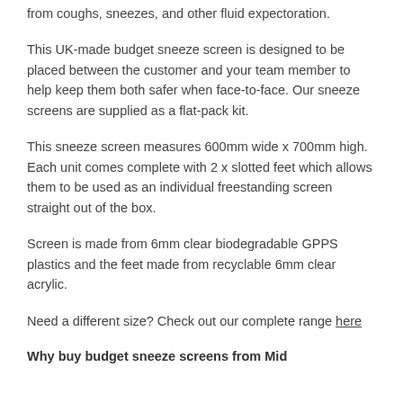from coughs, sneezes, and other fluid expectoration.
This UK-made budget sneeze screen is designed to be placed between the customer and your team member to help keep them both safer when face-to-face. Our sneeze screens are supplied as a flat-pack kit.
This sneeze screen measures 600mm wide x 700mm high. Each unit comes complete with 2 x slotted feet which allows them to be used as an individual freestanding screen straight out of the box.
Screen is made from 6mm clear biodegradable GPPS plastics and the feet made from recyclable 6mm clear acrylic.
Need a different size? Check out our complete range here
Why buy budget sneeze screens from Mid